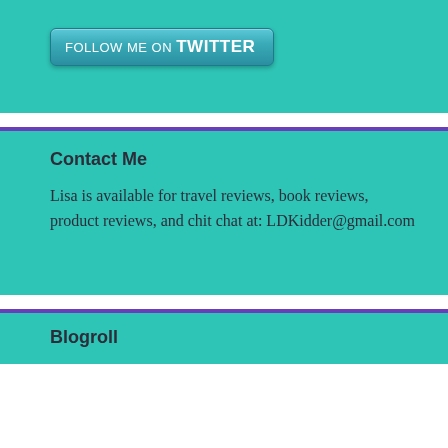[Figure (logo): Follow me on Twitter button with teal gradient background and white text]
Contact Me
Lisa is available for travel reviews, book reviews, product reviews, and chit chat at: LDKidder@gmail.com
Blogroll